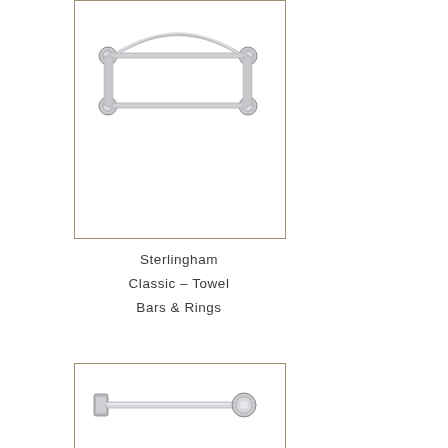[Figure (photo): Chrome double towel bar with decorative bracket ends and curved top rail, shown against white background inside a tan-bordered box.]
Sterlingham
Classic – Towel
Bars & Rings
[Figure (photo): Chrome single towel bar with circular decorative end cap on right side and wall mount bracket on left, shown against white background inside a tan-bordered box.]